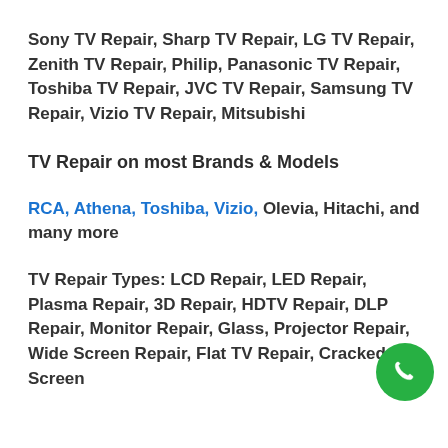Sony TV Repair, Sharp TV Repair, LG TV Repair, Zenith TV Repair, Philip, Panasonic TV Repair, Toshiba TV Repair, JVC TV Repair, Samsung TV Repair, Vizio TV Repair, Mitsubishi
TV Repair on most Brands & Models
RCA, Athena, Toshiba, Vizio, Olevia, Hitachi, and many more
TV Repair Types: LCD Repair, LED Repair, Plasma Repair, 3D Repair, HDTV Repair, DLP Repair, Monitor Repair, Glass, Projector Repair, Wide Screen Repair, Flat TV Repair, Cracked Screen
[Figure (other): Green circular phone call button icon in the bottom-right corner]